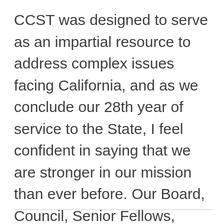CCST was designed to serve as an impartial resource to address complex issues facing California, and as we conclude our 28th year of service to the State, I feel confident in saying that we are stronger in our mission than ever before. Our Board, Council, Senior Fellows, Science Fellows and Alumni, partners and staff, supported by our generous donors, make a fantastic team who continue to make California stronger with science.